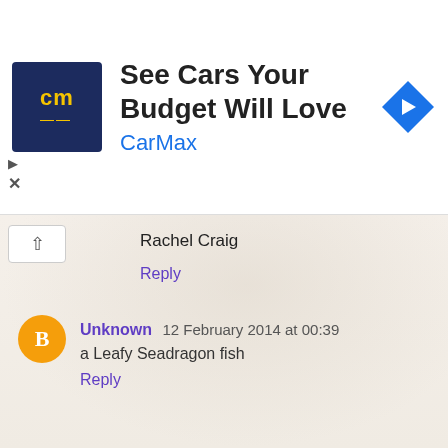[Figure (screenshot): CarMax advertisement banner with logo, 'See Cars Your Budget Will Love' headline, CarMax brand name, and a blue navigation arrow icon]
Rachel Craig
Reply
Unknown 12 February 2014 at 00:39
a Leafy Seadragon fish
Reply
no name 12 February 2014 at 01:55
Starfish
Reply
Allan Smith 12 February 2014 at 03:24